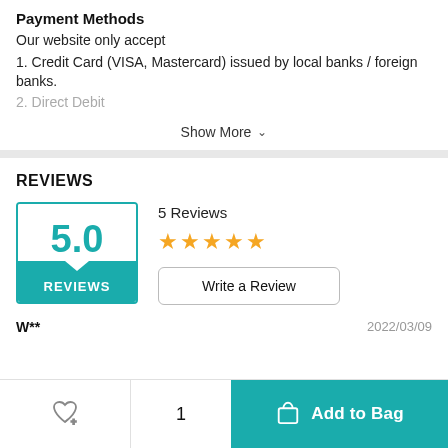Payment Methods
Our website only accept
1. Credit Card (VISA, Mastercard) issued by local banks / foreign banks.
2. Direct Debit
Show More
REVIEWS
[Figure (other): Rating score box showing 5.0 with teal background label REVIEWS]
5 Reviews
[Figure (other): 5 gold star rating]
Write a Review
W**
2022/03/09
1
Add to Bag